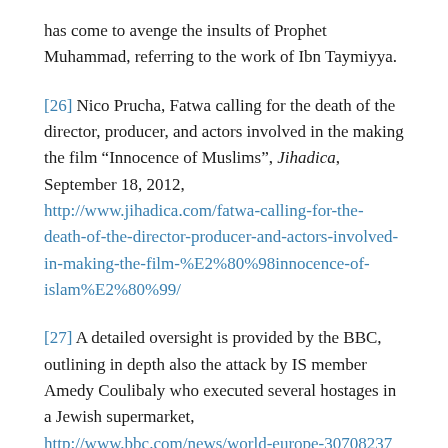has come to avenge the insults of Prophet Muhammad, referring to the work of Ibn Taymiyya.
[26] Nico Prucha, Fatwa calling for the death of the director, producer, and actors involved in the making the film “Innocence of Muslims”, Jihadica, September 18, 2012, http://www.jihadica.com/fatwa-calling-for-the-death-of-the-director-producer-and-actors-involved-in-making-the-film-%E2%80%98innocence-of-islam%E2%80%99/
[27] A detailed oversight is provided by the BBC, outlining in depth also the attack by IS member Amedy Coulibaly who executed several hostages in a Jewish supermarket, http://www.bbc.com/news/world-europe-30708237